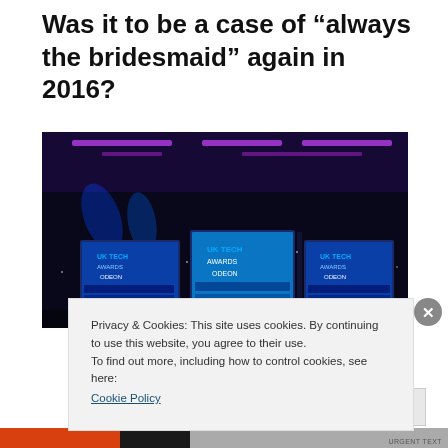Was it to be a case of "always the bridesmaid" again in 2016?
[Figure (photo): Awards ceremony venue with blue and purple lighting, multiple screens displaying UK Tech Awards / ODEON branding on stage]
Privacy & Cookies: This site uses cookies. By continuing to use this website, you agree to their use.
To find out more, including how to control cookies, see here:
Cookie Policy
Close and accept